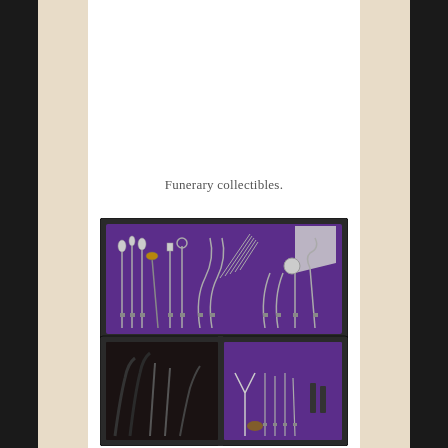Funerary collectibles.
[Figure (photo): An open black case lined with purple velvet containing various glass and metal funerary embalming tools and instruments arranged in two trays.]